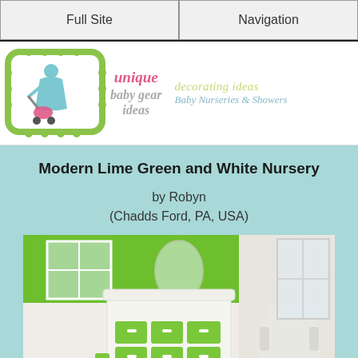Full Site | Navigation
[Figure (logo): Unique Baby Gear Ideas logo with illustration of woman pushing stroller in lime green frame, plus decorating ideas for baby nurseries and showers text]
Modern Lime Green and White Nursery
by Robyn
(Chadds Ford, PA, USA)
[Figure (photo): Photo of a modern lime green and white nursery showing a white changing table with green storage bins, green accent wall, white chair, and bright windows]